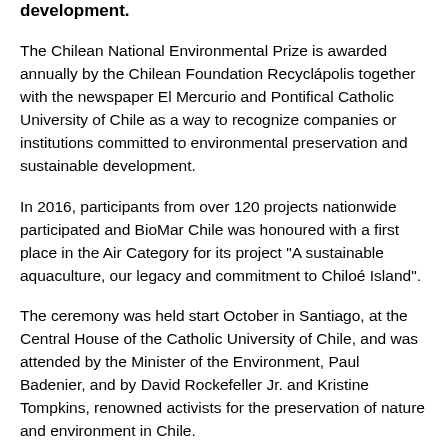development.
The Chilean National Environmental Prize is awarded annually by the Chilean Foundation Recyclápolis together with the newspaper El Mercurio and Pontifical Catholic University of Chile as a way to recognize companies or institutions committed to environmental preservation and sustainable development.
In 2016, participants from over 120 projects nationwide participated and BioMar Chile was honoured with a first place in the Air Category for its project "A sustainable aquaculture, our legacy and commitment to Chiloé Island".
The ceremony was held start October in Santiago, at the Central House of the Catholic University of Chile, and was attended by the Minister of the Environment, Paul Badenier, and by David Rockefeller Jr. and Kristine Tompkins, renowned activists for the preservation of nature and environment in Chile.
The elite project BioMar Chile managed to mini…